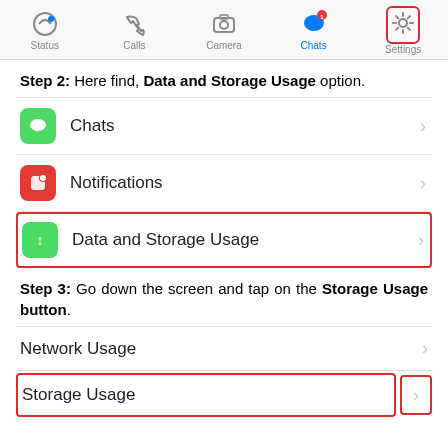[Figure (screenshot): WhatsApp iOS bottom navigation bar showing Status, Calls, Camera, Chats (active, blue), and Settings (highlighted with red border) tabs]
Step 2: Here find, Data and Storage Usage option.
[Figure (screenshot): iOS settings list showing Chats, Notifications, and Data and Storage Usage (highlighted with red border) rows with chevrons]
Step 3: Go down the screen and tap on the Storage Usage button.
[Figure (screenshot): iOS settings list showing Network Usage row and Storage Usage row (highlighted with red border on label and chevron separately)]